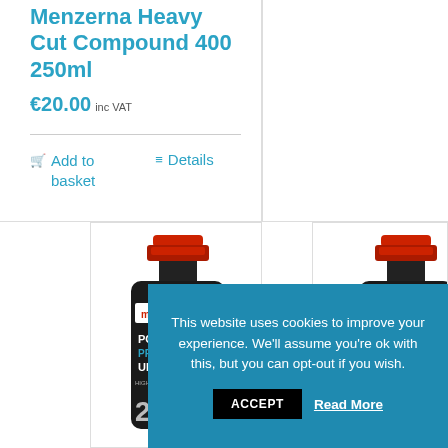Menzerna Heavy Cut Compound 400 250ml
€20.00 inc VAT
Add to basket
Details
[Figure (photo): Menzerna Power Protect Ultra 2-in-1 product bottle with red cap, black bottle with label]
[Figure (photo): Menzerna product bottle with red cap, partially visible, right side card]
This website uses cookies to improve your experience. We'll assume you're ok with this, but you can opt-out if you wish.
ACCEPT
Read More